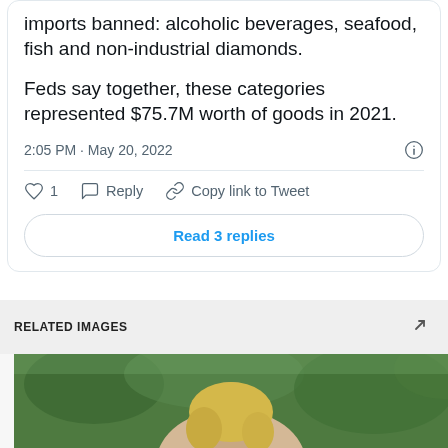imports banned: alcoholic beverages, seafood, fish and non-industrial diamonds.
Feds say together, these categories represented $75.7M worth of goods in 2021.
2:05 PM · May 20, 2022
1  Reply  Copy link to Tweet
Read 3 replies
RELATED IMAGES
[Figure (photo): Photo of a person with blonde hair outdoors with green foliage background]